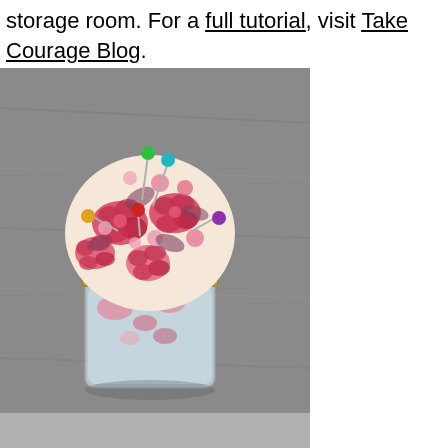storage room. For a full tutorial, visit Take Courage Blog.
[Figure (photo): A mason jar with a floral pincushion on top (pink and red flower fabric), with colorful sewing pins stuck into it (teal, green, yellow/gold, red, purple). The jar contains pins/sewing supplies inside. Set on a gray wooden surface.]